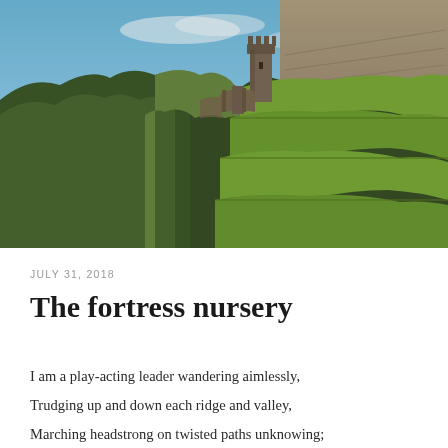[Figure (photo): Aerial landscape photo showing a medieval castle/fortress ruin on a rocky ridge surrounded by densely forested green hills on the left, and terraced vineyard slopes on the right, under a clear blue sky.]
JULY 31, 2018
The fortress nursery
I am a play-acting leader wandering aimlessly,
Trudging up and down each ridge and valley,
Marching headstrong on twisted paths unknowing;